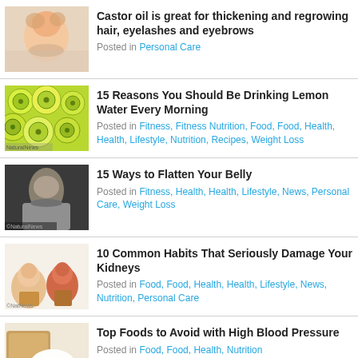Castor oil is great for thickening and regrowing hair, eyelashes and eyebrows
Posted in Personal Care
15 Reasons You Should Be Drinking Lemon Water Every Morning
Posted in Fitness, Fitness Nutrition, Food, Food, Health, Health, Lifestyle, Nutrition, Recipes, Weight Loss
15 Ways to Flatten Your Belly
Posted in Fitness, Health, Health, Lifestyle, News, Personal Care, Weight Loss
10 Common Habits That Seriously Damage Your Kidneys
Posted in Food, Food, Health, Health, Lifestyle, News, Nutrition, Personal Care
Top Foods to Avoid with High Blood Pressure
Posted in Food, Food, Health, Nutrition